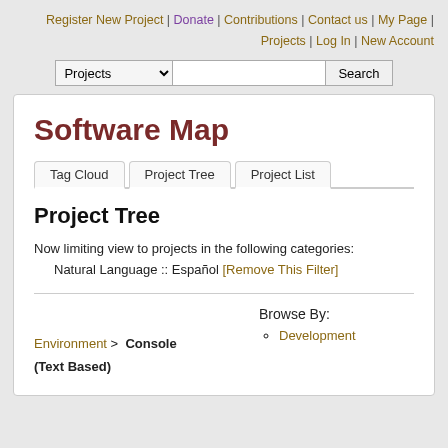Register New Project | Donate | Contributions | Contact us | My Page | Projects | Log In | New Account
Projects [dropdown] Search
Software Map
Tag Cloud   Project Tree   Project List
Project Tree
Now limiting view to projects in the following categories:
    Natural Language :: Español [Remove This Filter]
Browse By:
Environment > Console (Text Based)
• Development